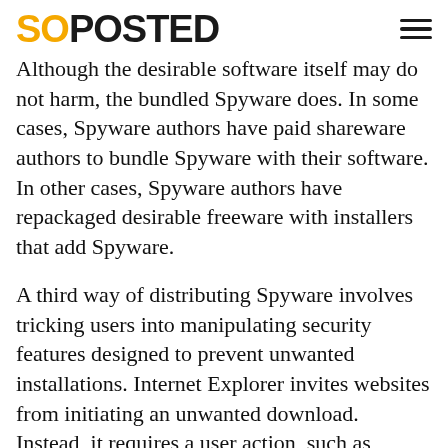SOPOSTED
Although the desirable software itself may do not harm, the bundled Spyware does. In some cases, Spyware authors have paid shareware authors to bundle Spyware with their software. In other cases, Spyware authors have repackaged desirable freeware with installers that add Spyware.
A third way of distributing Spyware involves tricking users into manipulating security features designed to prevent unwanted installations. Internet Explorer invites websites from initiating an unwanted download. Instead, it requires a user action, such as clicking on a link. However, links can prove deceptive: for instance, a pop-up ad may appear like a standard Windows dialogue box. The box contains a message such as “Would you like to optimize your Internet access?” with links which